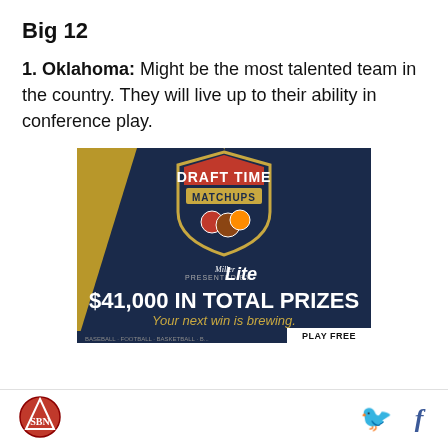Big 12
1. Oklahoma: Might be the most talented team in the country. They will live up to their ability in conference play.
[Figure (advertisement): Draft Time Matchups advertisement presented by Miller Lite. $41,000 in total prizes. Your next win is brewing. Aug.–Dec. 13 contests. Baseball, football, basketball. Play Free.]
SB Nation logo | Twitter and Facebook social icons